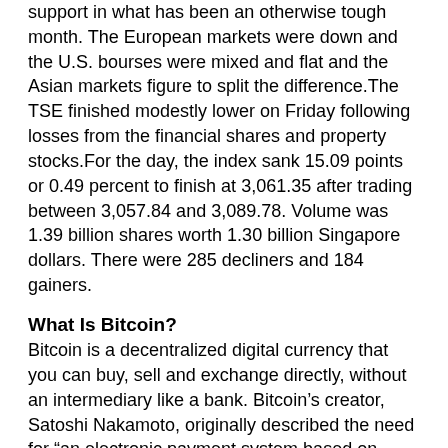support in what has been an otherwise tough month. The European markets were down and the U.S. bourses were mixed and flat and the Asian markets figure to split the difference.The TSE finished modestly lower on Friday following losses from the financial shares and property stocks.For the day, the index sank 15.09 points or 0.49 percent to finish at 3,061.35 after trading between 3,057.84 and 3,089.78. Volume was 1.39 billion shares worth 1.30 billion Singapore dollars. There were 285 decliners and 184 gainers.
What Is Bitcoin?
Bitcoin is a decentralized digital currency that you can buy, sell and exchange directly, without an intermediary like a bank. Bitcoin's creator, Satoshi Nakamoto, originally described the need for “an electronic payment system based on cryptographic proof instead of trust.” Each and every Bitcoin transaction that's ever been made exists on a public ledger accessible to everyone, making transactions hard to reverse and difficult to fake. That's by design: Core to their decentralized nature, Bitcoins aren't backed by the government or any issuing institution, and there’s nothing to guarantee their value besides the proof baked in the heart of the system. “The reason why it’s worth money is simply because we, as people, decided it has value—same as gold,” says Anton Mozgovoy, co-founder & CEO